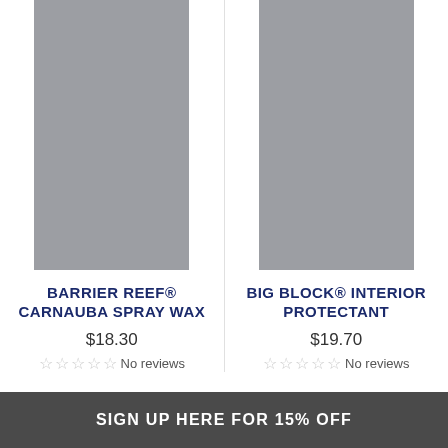[Figure (photo): Gray placeholder product image for Barrier Reef Carnauba Spray Wax]
BARRIER REEF® CARNAUBA SPRAY WAX
$18.30
☆☆☆☆☆ No reviews
[Figure (photo): Gray placeholder product image for Big Block Interior Protectant]
BIG BLOCK® INTERIOR PROTECTANT
$19.70
☆☆☆☆☆ No reviews
SIGN UP HERE FOR 15% OFF